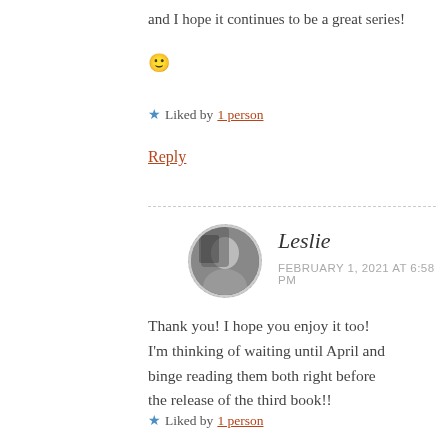and I hope it continues to be a great series! 🙂
★ Liked by 1 person
Reply
[Figure (photo): Circular avatar photo of Leslie, a user commenter, with dashed border]
Leslie
FEBRUARY 1, 2021 AT 6:58 PM
Thank you! I hope you enjoy it too! I'm thinking of waiting until April and binge reading them both right before the release of the third book!!
★ Liked by 1 person